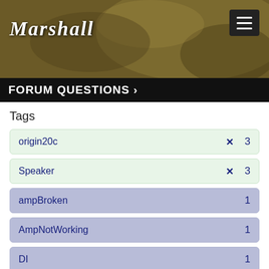[Figure (photo): Marshall amplifiers website header banner with sepia-toned background photo of guitar/amp equipment, Marshall logo in white italic text on left, hamburger menu button top right]
FORUM QUESTIONS >
Tags
origin20c  ✕  3
Speaker  ✕  3
ampBroken  1
AmpNotWorking  1
DI  1
Headphones  1
nosound  1
Problems  1
TubeValve  1